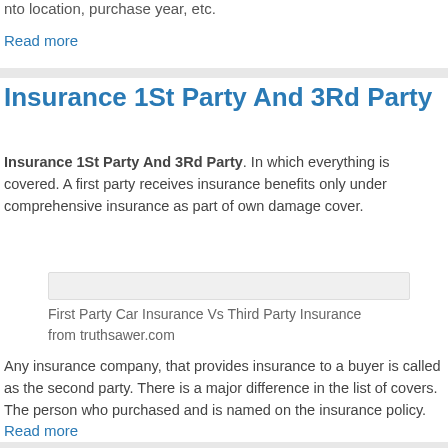nto location, purchase year, etc.
Read more
Insurance 1St Party And 3Rd Party
Insurance 1St Party And 3Rd Party. In which everything is covered. A first party receives insurance benefits only under comprehensive insurance as part of own damage cover.
[Figure (other): Image placeholder box (First Party Car Insurance Vs Third Party Insurance from truthsawer.com)]
First Party Car Insurance Vs Third Party Insurance from truthsawer.com
Any insurance company, that provides insurance to a buyer is called as the second party. There is a major difference in the list of covers. The person who purchased and is named on the insurance policy.
Read more